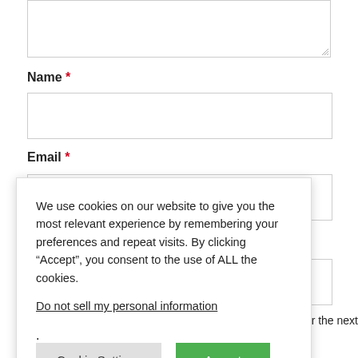[Figure (screenshot): Textarea input box at top of page, partially visible, with resize handle at bottom-right]
Name *
[Figure (screenshot): Name input field, empty text box]
Email *
[Figure (screenshot): Email input field, empty text box]
[Figure (screenshot): Website input field, empty text box]
owser for the next
We use cookies on our website to give you the most relevant experience by remembering your preferences and repeat visits. By clicking “Accept”, you consent to the use of ALL the cookies.
Do not sell my personal information.
[Figure (screenshot): Cookie consent popup with Cookie Settings and Accept buttons]
POST COMMENT